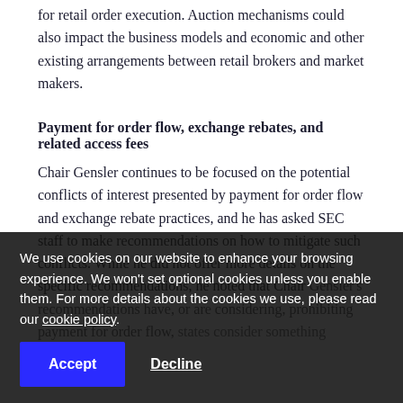for retail order execution. Auction mechanisms could also impact the business models and economic and other existing arrangements between retail brokers and market makers.
Payment for order flow, exchange rebates, and related access fees
Chair Gensler continues to be focused on the potential conflicts of interest presented by payment for order flow and exchange rebate practices, and he has asked SEC staff to make recommendations on how to mitigate such conflicts. While he did not offer more details on the specific recommendations, he noted that Chair [Gensler]'s recommendations have, or are considering, prohibiting payment for order flow, states consider something similar, [and] payment for order flow is generally viewed as the
We use cookies on our website to enhance your browsing experience. We won't set optional cookies unless you enable them. For more details about the cookies we use, please read our cookie policy.